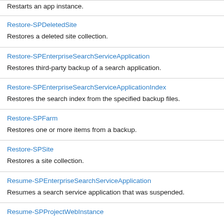Restarts an app instance.
Restore-SPDeletedSite
Restores a deleted site collection.
Restore-SPEnterpriseSearchServiceApplication
Restores third-party backup of a search application.
Restore-SPEnterpriseSearchServiceApplicationIndex
Restores the search index from the specified backup files.
Restore-SPFarm
Restores one or more items from a backup.
Restore-SPSite
Restores a site collection.
Resume-SPEnterpriseSearchServiceApplication
Resumes a search service application that was suspended.
Resume-SPProjectWebInstance